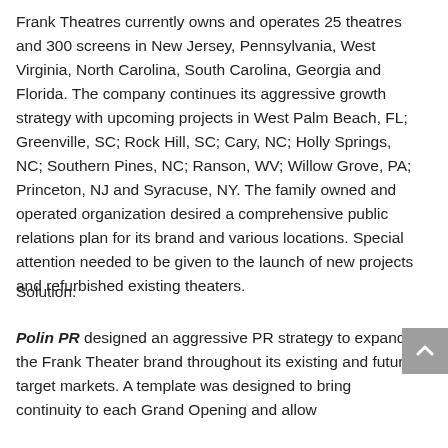Frank Theatres currently owns and operates 25 theatres and 300 screens in New Jersey, Pennsylvania, West Virginia, North Carolina, South Carolina, Georgia and Florida. The company continues its aggressive growth strategy with upcoming projects in West Palm Beach, FL; Greenville, SC; Rock Hill, SC; Cary, NC; Holly Springs, NC; Southern Pines, NC; Ranson, WV; Willow Grove, PA; Princeton, NJ and Syracuse, NY. The family owned and operated organization desired a comprehensive public relations plan for its brand and various locations. Special attention needed to be given to the launch of new projects and refurbished existing theaters.
Solution:
Polin PR designed an aggressive PR strategy to expand the Frank Theater brand throughout its existing and future target markets. A template was designed to bring continuity to each Grand Opening and allow